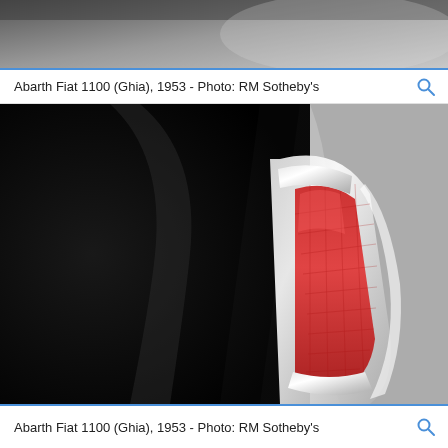[Figure (photo): Partial top view of an Abarth Fiat 1100 (Ghia), 1953, showing car bodywork in grey tones]
Abarth Fiat 1100 (Ghia), 1953 - Photo: RM Sotheby's
[Figure (photo): Close-up detail of the tail light of an Abarth Fiat 1100 (Ghia), 1953, showing a chrome-framed red reflector lens against black bodywork and grey background]
Abarth Fiat 1100 (Ghia), 1953 - Photo: RM Sotheby's